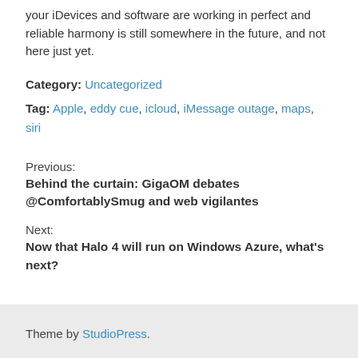your iDevices and software are working in perfect and reliable harmony is still somewhere in the future, and not here just yet.
Category: Uncategorized
Tag: Apple, eddy cue, icloud, iMessage outage, maps, siri
Previous:
Behind the curtain: GigaOM debates @ComfortablySmug and web vigilantes
Next:
Now that Halo 4 will run on Windows Azure, what's next?
Theme by StudioPress.